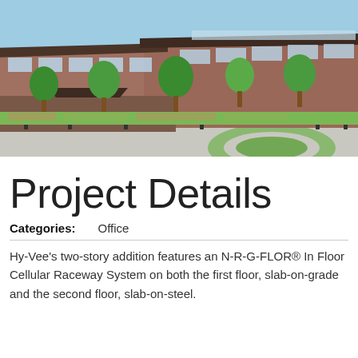[Figure (photo): Exterior photo of a modern two-story brick office building with large windows, landscaping, green lawn, trees, and a curved driveway in the foreground under a blue sky.]
Project Details
Categories:    Office
Hy-Vee's two-story addition features an N-R-G-FLOR® In Floor Cellular Raceway System on both the first floor, slab-on-grade and the second floor, slab-on-steel.